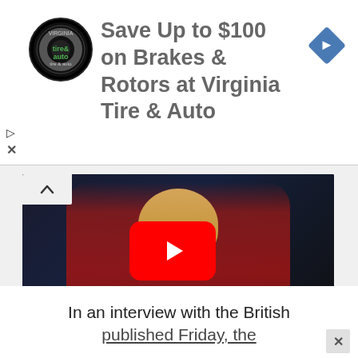[Figure (other): Advertisement banner for Virginia Tire & Auto with logo and navigation icon. Text: Save Up to $100 on Brakes & Rotors at Virginia Tire & Auto]
[Figure (screenshot): YouTube video thumbnail showing a woman in a red blazer with a YouTube play button overlay]
From Washington Times:
In an interview with the British published Friday, the